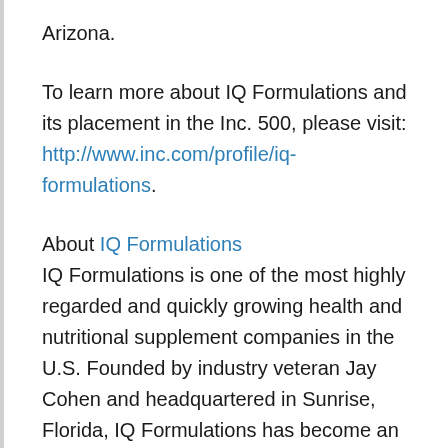Arizona.
To learn more about IQ Formulations and its placement in the Inc. 500, please visit: http://www.inc.com/profile/iq-formulations.
About IQ Formulations
IQ Formulations is one of the most highly regarded and quickly growing health and nutritional supplement companies in the U.S. Founded by industry veteran Jay Cohen and headquartered in Sunrise, Florida, IQ Formulations has become an